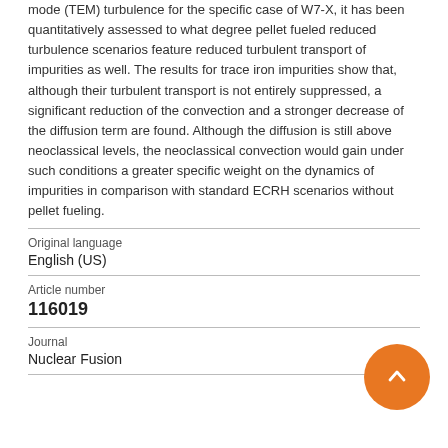mode (TEM) turbulence for the specific case of W7-X, it has been quantitatively assessed to what degree pellet fueled reduced turbulence scenarios feature reduced turbulent transport of impurities as well. The results for trace iron impurities show that, although their turbulent transport is not entirely suppressed, a significant reduction of the convection and a stronger decrease of the diffusion term are found. Although the diffusion is still above neoclassical levels, the neoclassical convection would gain under such conditions a greater specific weight on the dynamics of impurities in comparison with standard ECRH scenarios without pellet fueling.
| Field | Value |
| --- | --- |
| Original language | English (US) |
| Article number | 116019 |
| Journal | Nuclear Fusion |